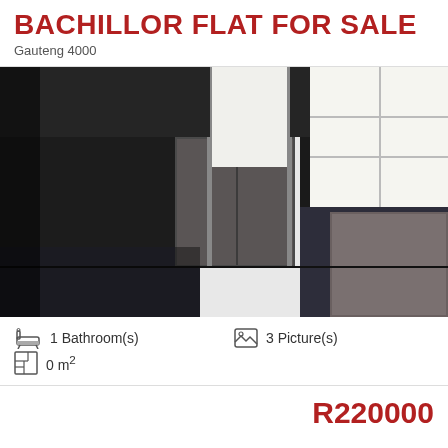BACHILLOR FLAT FOR SALE
Gauteng 4000
[Figure (photo): Interior of an empty bachelor flat showing dark carpeted floor, large windows letting in bright light, closet/wardrobe unit, and bare walls]
1 Bathroom(s)
3 Picture(s)
0 m²
R220000